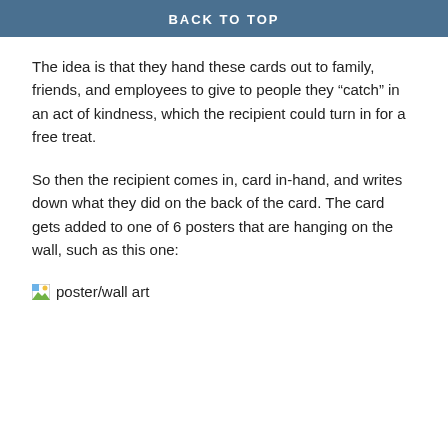BACK TO TOP
The idea is that they hand these cards out to family, friends, and employees to give to people they “catch” in an act of kindness, which the recipient could turn in for a free treat.
So then the recipient comes in, card in-hand, and writes down what they did on the back of the card. The card gets added to one of 6 posters that are hanging on the wall, such as this one:
[Figure (photo): Broken image placeholder labeled 'poster/wall art']